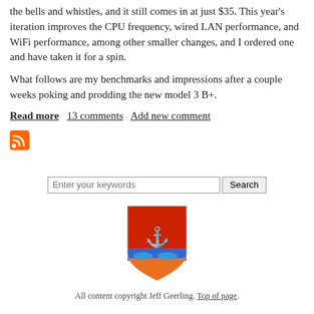the bells and whistles, and it still comes in at just $35. This year's iteration improves the CPU frequency, wired LAN performance, and WiFi performance, among other smaller changes, and I ordered one and have taken it for a spin.

What follows are my benchmarks and impressions after a couple weeks poking and prodding the new model 3 B+.
Read more   13 comments   Add new comment
[Figure (logo): RSS feed icon (orange square with white radio waves)]
[Figure (logo): Jeff Geerling shield/crest logo in red, blue, and orange with an anchor-like symbol]
All content copyright Jeff Geerling. Top of page.